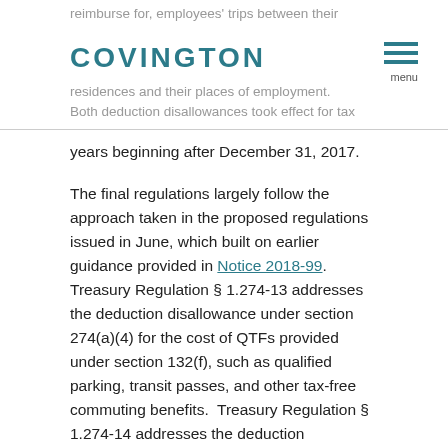reimburse for, employees' trips between their residences and their places of employment. Both deduction disallowances took effect for tax years beginning after December 31, 2017.
The final regulations largely follow the approach taken in the proposed regulations issued in June, which built on earlier guidance provided in Notice 2018-99. Treasury Regulation § 1.274-13 addresses the deduction disallowance under section 274(a)(4) for the cost of QTFs provided under section 132(f), such as qualified parking, transit passes, and other tax-free commuting benefits. Treasury Regulation § 1.274-14 addresses the deduction disallowance under section 274(a).